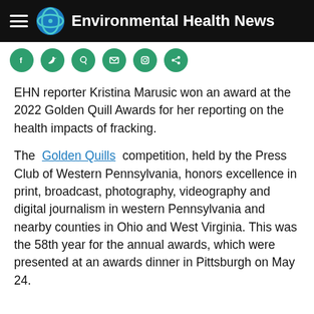Environmental Health News
[Figure (illustration): Six social media sharing icons (circles in teal/green) arranged in a row: Facebook, Twitter/share, Pinterest, Email, Instagram, and another share icon]
EHN reporter Kristina Marusic won an award at the 2022 Golden Quill Awards for her reporting on the health impacts of fracking.
The Golden Quills competition, held by the Press Club of Western Pennsylvania, honors excellence in print, broadcast, photography, videography and digital journalism in western Pennsylvania and nearby counties in Ohio and West Virginia. This was the 58th year for the annual awards, which were presented at an awards dinner in Pittsburgh on May 24.